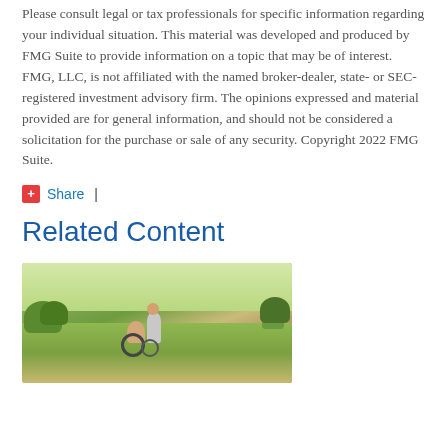Please consult legal or tax professionals for specific information regarding your individual situation. This material was developed and produced by FMG Suite to provide information on a topic that may be of interest. FMG, LLC, is not affiliated with the named broker-dealer, state- or SEC-registered investment advisory firm. The opinions expressed and material provided are for general information, and should not be considered a solicitation for the purchase or sale of any security. Copyright 2022 FMG Suite.
Share |
Related Content
[Figure (photo): Outdoor park photo showing a person in a wheelchair with another person leaning in, trees and path in background]